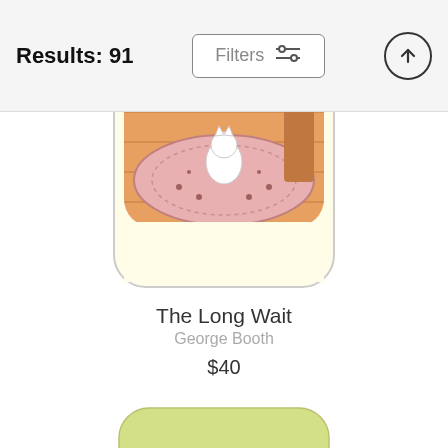Results: 91
Filters
[Figure (photo): Phone case product image showing illustrated interior scene with a white cat sitting on a rug in a room with wooden floor and orange walls]
The Long Wait
George Booth
$40
[Figure (photo): Partial view of a second phone case product with a light yellow-green color]